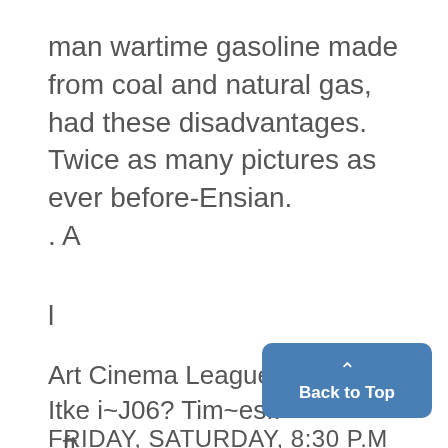man wartime gasoline made from coal and natural gas, had these disadvantages.
Twice as many pictures as ever before-Ensian.
. A
l
Art Cinema League presents
Itke i~J06? Tim~es..
..ft..
FRIDAY, SATURDAY, 8:30 P.M.